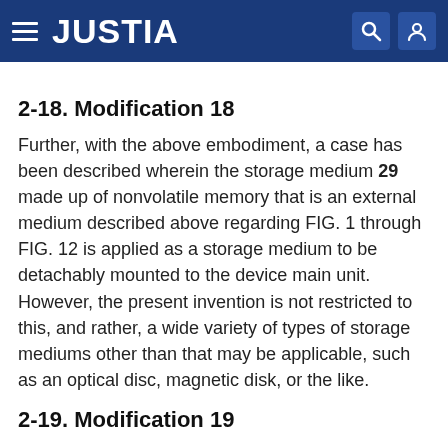JUSTIA
2-18. Modification 18
Further, with the above embodiment, a case has been described wherein the storage medium 29 made up of nonvolatile memory that is an external medium described above regarding FIG. 1 through FIG. 12 is applied as a storage medium to be detachably mounted to the device main unit. However, the present invention is not restricted to this, and rather, a wide variety of types of storage mediums other than that may be applicable, such as an optical disc, magnetic disk, or the like.
2-19. Modification 19
Further, with the above embodiment, a case has been described wherein the display control unit 6 made up of